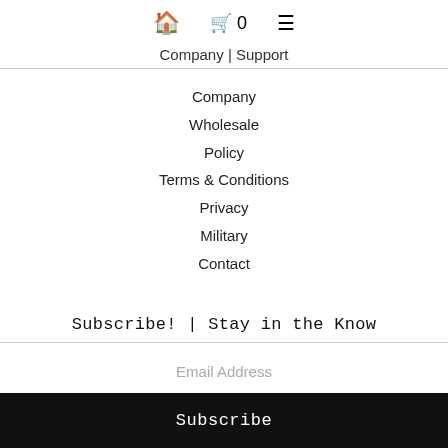🏠  🛒 0  ☰
Company | Support
Company
Wholesale
Policy
Terms & Conditions
Privacy
Military
Contact
Subscribe! | Stay in the Know
Email Address
Subscribe